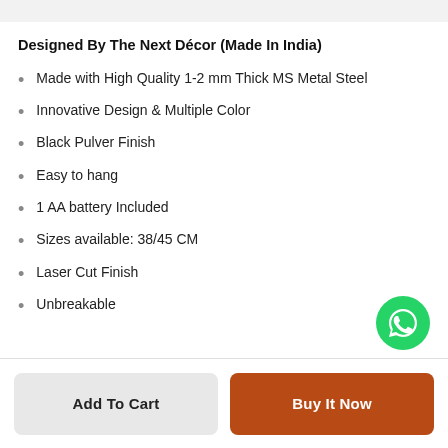Designed By The Next Décor (Made In India)
Made with High Quality 1-2 mm Thick MS Metal Steel
Innovative Design & Multiple Color
Black Pulver Finish
Easy to hang
1 AA battery Included
Sizes available: 38/45 CM
Laser Cut Finish
Unbreakable
[Figure (logo): WhatsApp green circular button icon]
Add To Cart
Buy It Now